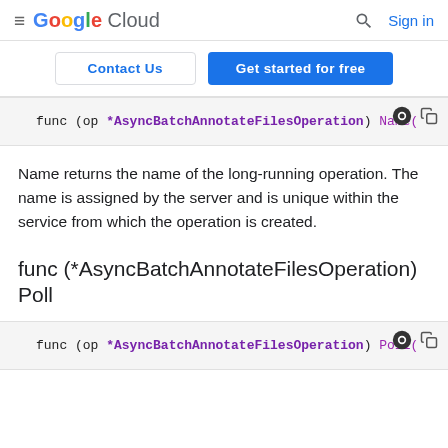≡ Google Cloud | 🔍 Sign in
Contact Us | Get started for free
func (op *AsyncBatchAnnotateFilesOperation) Name(
Name returns the name of the long-running operation. The name is assigned by the server and is unique within the service from which the operation is created.
func (*AsyncBatchAnnotateFilesOperation) Poll
func (op *AsyncBatchAnnotateFilesOperation) Poll(